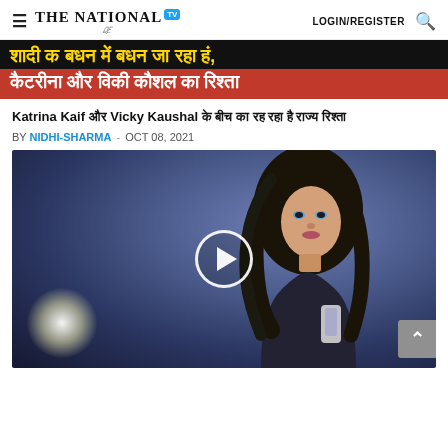THE NATIONAL TV — LOGIN/REGISTER
[Figure (photo): Banner image with Hindi text about Katrina Kaif and Vicky Kaushal marriage, black background with yellow text on top line, red background with white text on second line. Line 1: शादी क बधन में बधन जा रहा हं, Line 2: कैटरीना और विकी कौशल का रिश्ता]
Katrina Kaif और Vicky Kaushal के बीच का रह रहा है राज्य रिश्ता
BY NIDHI-SHARMA - OCT 08, 2021
[Figure (photo): Video thumbnail showing a young woman with long dark hair looking at the camera against a dark blue/purple studio background, holding something shiny. A white play button circle is overlaid in the center.]